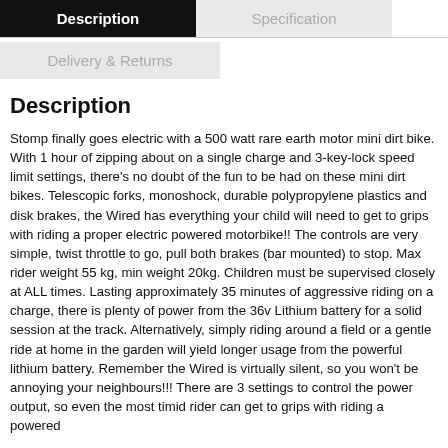Description | Specification | Delivery & Returns
Description
Stomp finally goes electric with a 500 watt rare earth motor mini dirt bike. With 1 hour of zipping about on a single charge and 3-key-lock speed limit settings, there's no doubt of the fun to be had on these mini dirt bikes. Telescopic forks, monoshock, durable polypropylene plastics and disk brakes, the Wired has everything your child will need to get to grips with riding a proper electric powered motorbike!! The controls are very simple, twist throttle to go, pull both brakes (bar mounted) to stop. Max rider weight 55 kg, min weight 20kg. Children must be supervised closely at ALL times. Lasting approximately 35 minutes of aggressive riding on a charge, there is plenty of power from the 36v Lithium battery for a solid session at the track. Alternatively, simply riding around a field or a gentle ride at home in the garden will yield longer usage from the powerful lithium battery. Remember the Wired is virtually silent, so you won't be annoying your neighbours!!! There are 3 settings to control the power output, so even the most timid rider can get to grips with riding a powered